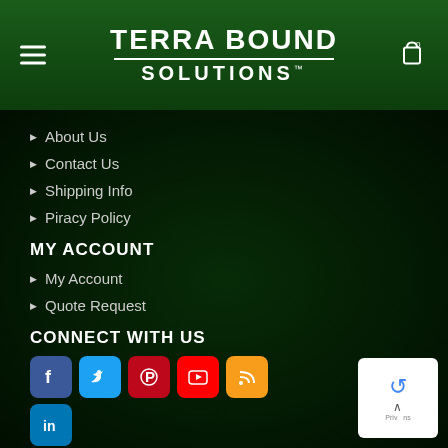Terra Bound Solutions
About Us
Contact Us
Shipping Info
Piracy Policy
MY ACCOUNT
My Account
Quote Request
CONNECT WITH US
[Figure (other): Social media icons row: Facebook, Twitter, Pinterest, YouTube, RSS, LinkedIn]